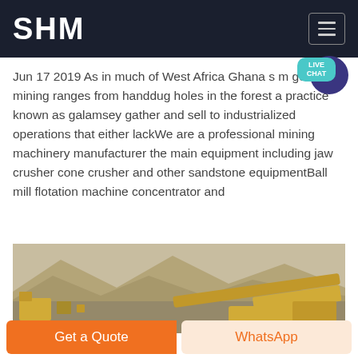SHM
Jun 17 2019 As in much of West Africa Ghana s gold mining ranges from handdug holes in the forest a practice known as galamsey gather and sell to industrialized operations that either lackWe are a professional mining machinery manufacturer the main equipment including jaw crusher cone crusher and other sandstone equipmentBall mill flotation machine concentrator and
Chat Online
[Figure (photo): Aerial/ground view of an open-pit mining site with yellow heavy machinery and conveyor equipment, mountainous terrain in background.]
Get a Quote
WhatsApp